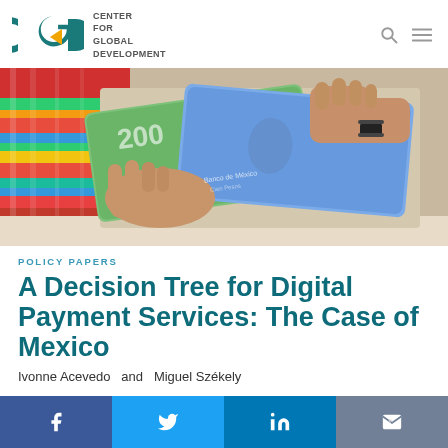CENTER FOR GLOBAL DEVELOPMENT
[Figure (photo): Hands exchanging Mexican peso banknotes, colorful textile clothing visible on left side]
POLICY PAPERS
A Decision Tree for Digital Payment Services: The Case of Mexico
Ivonne Acevedo  and  Miguel Székely
Facebook, Twitter, LinkedIn, Email share buttons